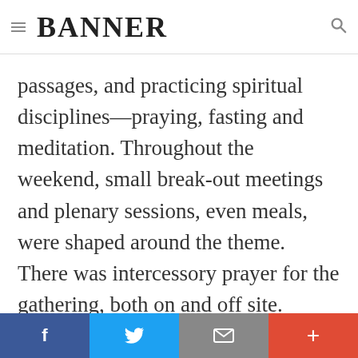BANNER
passages, and practicing spiritual disciplines—praying, fasting and meditation. Throughout the weekend, small break-out meetings and plenary sessions, even meals, were shaped around the theme. There was intercessory prayer for the gathering, both on and off site. Jeremy Benjamin, a Christian Reformed musician who has been on a cross-Canada tour, and a band of musicians from local CRCs led worship times. They were powerful and moving, on occasion causing
f  t  (email)  +